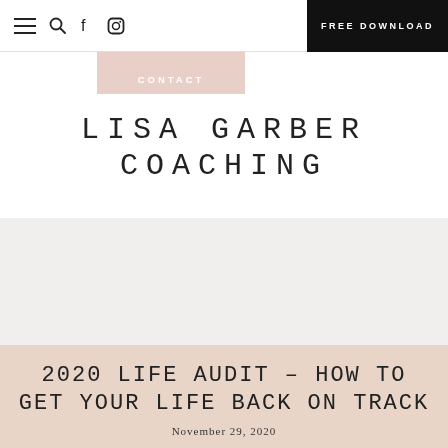FREE DOWNLOAD
CONTACT
LISA GARBER COACHING
2020 LIFE AUDIT – HOW TO GET YOUR LIFE BACK ON TRACK
November 29, 2020